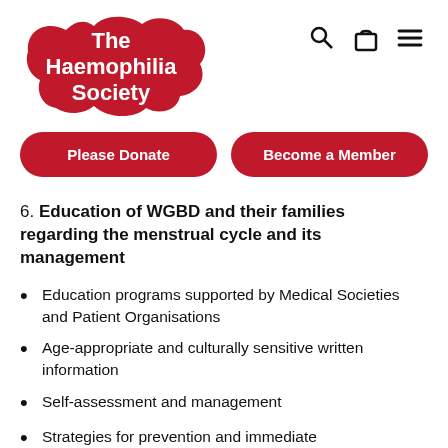The Haemophilia Society
[Figure (logo): The Haemophilia Society logo — red blob/cloud shape with white bold text reading 'The Haemophilia Society']
Please Donate | Become a Member
6. Education of WGBD and their families regarding the menstrual cycle and its management
Education programs supported by Medical Societies and Patient Organisations
Age-appropriate and culturally sensitive written information
Self-assessment and management
Strategies for prevention and immediate